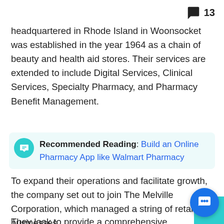13
headquartered in Rhode Island in Woonsocket was established in the year 1964 as a chain of beauty and health aid stores. Their services are extended to include Digital Services, Clinical Services, Specialty Pharmacy, and Pharmacy Benefit Management.
Recommended Reading: Build an Online Pharmacy App like Walmart Pharmacy
To expand their operations and facilitate growth, the company set out to join The Melville Corporation, which managed a string of retail businesses.
They look to provide a comprehensive range of affordable and quality health services that are within